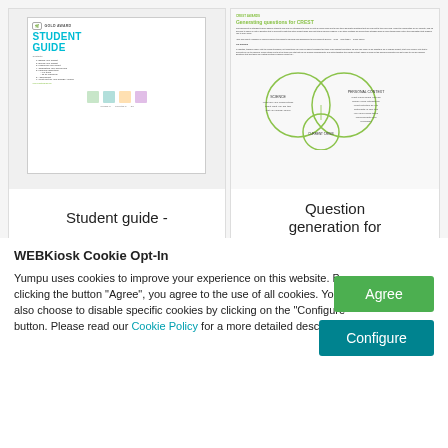[Figure (screenshot): Thumbnail of CREST Gold Award Student Guide cover with teal title and icons]
Student guide -
[Figure (screenshot): Thumbnail of CREST document page titled 'Generating questions for CREST' with Venn-style diagram]
Question generation for
WEBKiosk Cookie Opt-In
Yumpu uses cookies to improve your experience on this website. By clicking the button "Agree", you agree to the use of all cookies. You may also choose to disable specific cookies by clicking on the "Configure" button. Please read our Cookie Policy for a more detailed description.